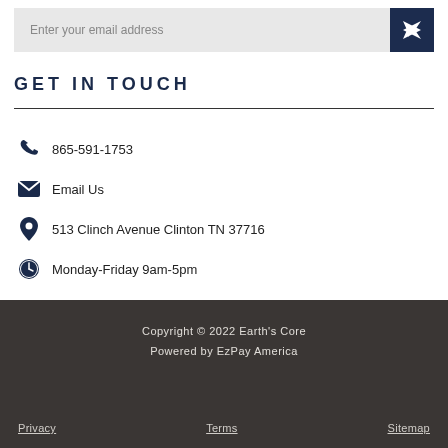[Figure (screenshot): Email subscription input bar with dark navy send button containing paper plane icon]
GET IN TOUCH
865-591-1753
Email Us
513 Clinch Avenue Clinton TN 37716
Monday-Friday 9am-5pm
Copyright © 2022 Earth's Core
Powered by EzPay America
Privacy   Terms   Sitemap